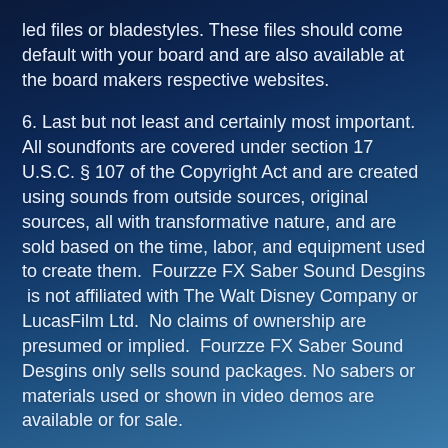led files or bladestyles. These files should come default with your board and are also available at the board makers respective websites.
6. Last but not least and certainly most important. All soundfonts are covered under section 17 U.S.C. § 107 of the Copyright Act and are created using sounds from outside sources, original sources, all with transformative nature, and are sold based on the time, labor, and equipment used to create them.  Fourzze FX Saber Sound Desgins  is not affiliated with The Walt Disney Company or LucasFilm Ltd.  No claims of ownership are presumed or implied.  Fourzze FX Saber Sound Desgins only sells sound packages. No sabers or materials used or shown in video demos are available or for sale.
7. Above all else..... HAVE FUN!!!!